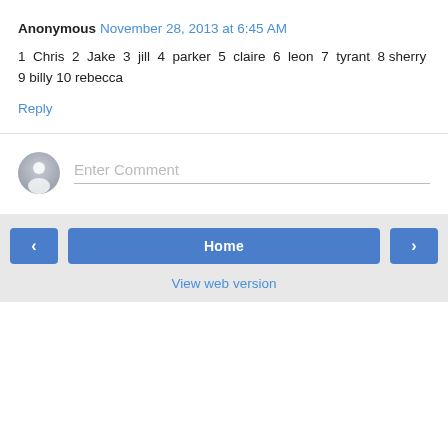Anonymous November 28, 2013 at 6:45 AM
1 Chris 2 Jake 3 jill 4 parker 5 claire 6 leon 7 tyrant 8 sherry 9 billy 10 rebecca
Reply
[Figure (other): User avatar placeholder circle with silhouette icon, and Enter Comment text input field]
Home
View web version